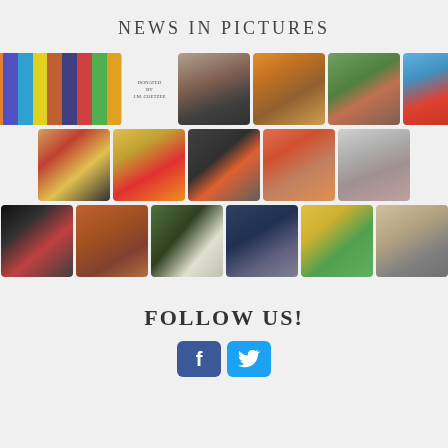NEWS IN PICTURES
[Figure (photo): Grid of 15 thumbnail photos in 3 rows showing books, portraits, and people — a news-in-pictures collage.]
FOLLOW US!
[Figure (infographic): Facebook and Twitter social media buttons (blue icons with f and bird symbols).]